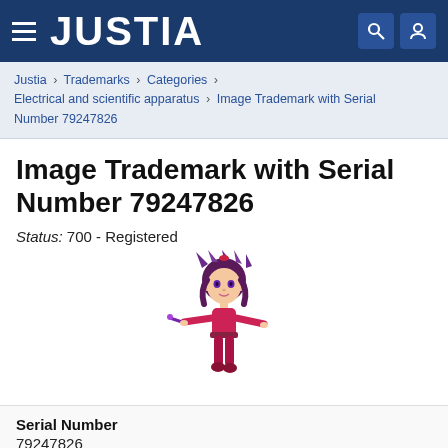JUSTIA
Justia › Trademarks › Categories › Electrical and scientific apparatus › Image Trademark with Serial Number 79247826
Image Trademark with Serial Number 79247826
Status: 700 - Registered
[Figure (illustration): 3D animated female character with dark purple spiky hair, wearing a pink/magenta outfit, arms outstretched, holding a purple wand or stick. The character appears to be a superhero or fairy-type figure.]
Serial Number
79247826